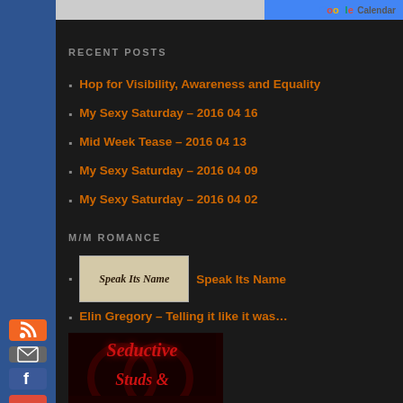[Figure (screenshot): Top partial Google Calendar banner]
RECENT POSTS
Hop for Visibility, Awareness and Equality
My Sexy Saturday – 2016 04 16
Mid Week Tease – 2016 04 13
My Sexy Saturday – 2016 04 09
My Sexy Saturday – 2016 04 02
M/M ROMANCE
Speak Its Name
Elin Gregory – Telling it like it was…
[Figure (illustration): Book cover image: Seductive Studs & (cropped)]